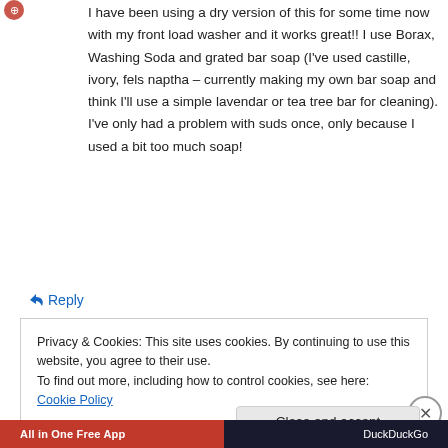[Figure (logo): Small orange/red circular icon logo in top-left corner]
I have been using a dry version of this for some time now with my front load washer and it works great!! I use Borax, Washing Soda and grated bar soap (I've used castille, ivory, fels naptha – currently making my own bar soap and think I'll use a simple lavendar or tea tree bar for cleaning). I've only had a problem with suds once, only because I used a bit too much soap!
↪ Reply
Privacy & Cookies: This site uses cookies. By continuing to use this website, you agree to their use.
To find out more, including how to control cookies, see here: Cookie Policy
Close and accept